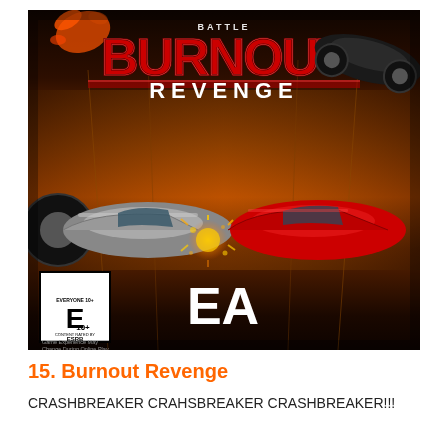[Figure (photo): Burnout Revenge video game cover art. Shows cars crashing in an urban tunnel environment with sparks flying. Large red 'BURNOUT' text with 'REVENGE' subtitle at top. EA logo and ESRB E10+ rating visible at bottom left. 'Game Experience May Change During Online Play' disclaimer text.]
15. Burnout Revenge
CRASHBREAKER CRAHSBREAKER CRASHBREAKER!!!